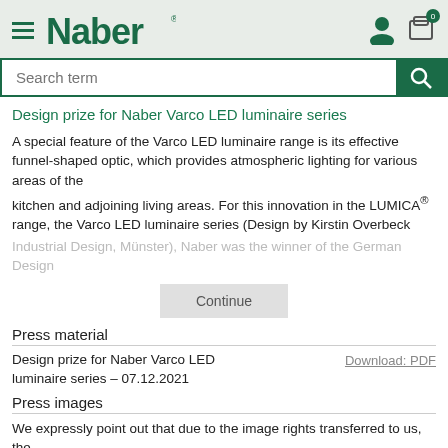Naber
Design prize for Naber Varco LED luminaire series
A special feature of the Varco LED luminaire range is its effective funnel-shaped optic, which provides atmospheric lighting for various areas of the kitchen and adjoining living areas. For this innovation in the LUMICA® range, the Varco LED luminaire series (Design by Kirstin Overbeck Industrial Design, Münster), Naber was the winner of the German Design
Continue
Press material
Design prize for Naber Varco LED luminaire series – 07.12.2021
Download: PDF
Press images
We expressly point out that due to the image rights transferred to us, the